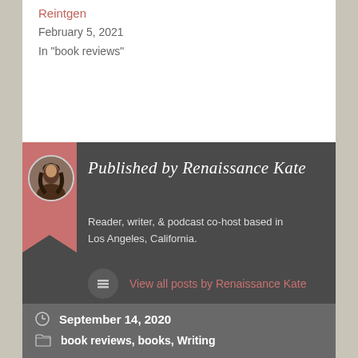Reintgen
February 5, 2021
In "book reviews"
Published by Renaissance Kate
Reader, writer, & podcast co-host based in Los Angeles, California.
View all posts by Renaissance Kate
September 14, 2020
book reviews, books, Writing
Twin Daggers by MarcyKate Connolly